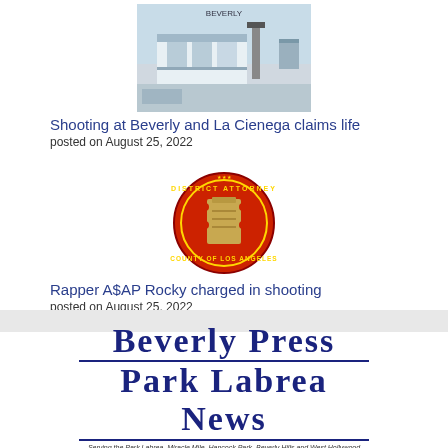[Figure (photo): Photo of a gas station building exterior with blue sky]
Shooting at Beverly and La Cienega claims life
posted on August 25, 2022
[Figure (logo): Los Angeles County District Attorney seal/badge on red background]
Rapper A$AP Rocky charged in shooting
posted on August 25, 2022
[Figure (logo): Beverly Press Park Labrea News newspaper logo with tagline: Serving the Park Labrea, Miracle Mile, Hancock Park, Beverly Hills and West Hollywood communities since 1946.]